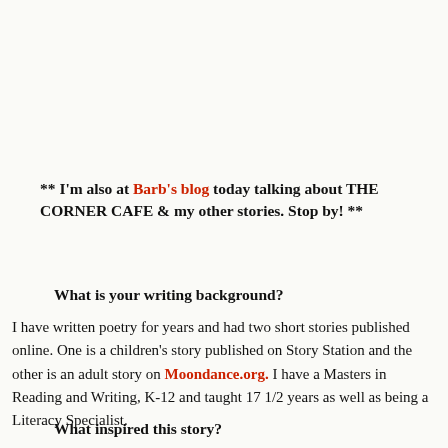** I'm also at Barb's blog today talking about THE CORNER CAFE & my other stories. Stop by! **
What is your writing background?
I have written poetry for years and had two short stories published online. One is a children's story published on Story Station and the other is an adult story on Moondance.org. I have a Masters in Reading and Writing, K-12 and taught 17 1/2 years as well as being a Literacy Specialist.
What inspired this story?